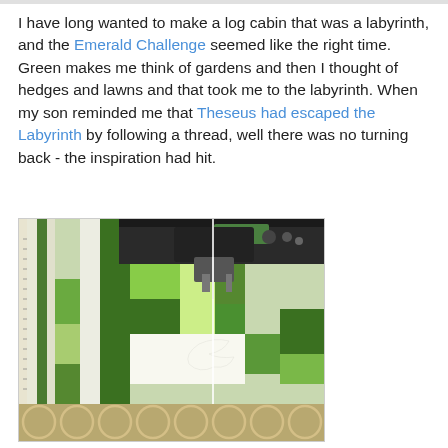I have long wanted to make a log cabin that was a labyrinth, and the Emerald Challenge seemed like the right time. Green makes me think of gardens and then I thought of hedges and lawns and that took me to the labyrinth. When my son reminded me that Theseus had escaped the Labyrinth by following a thread, well there was no turning back - the inspiration had hit.
[Figure (photo): A sewing machine quilting green and white log cabin quilt blocks with various shades of green fabric patches and a decorative border with circle patterns.]